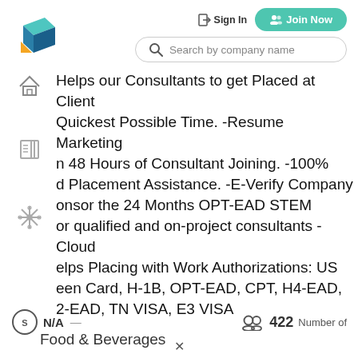[Figure (logo): 3D blue and orange box/cube logo mark]
[Figure (screenshot): Sign In button with arrow icon and Join Now button with people icon]
[Figure (screenshot): Search bar with magnifying glass icon and placeholder text 'Search by company name']
Helps our Consultants to get Placed at Client Quickest Possible Time. -Resume Marketing n 48 Hours of Consultant Joining. -100% d Placement Assistance. -E-Verify Company onsor the 24 Months OPT-EAD STEM or qualified and on-project consultants -Cloud elps Placing with Work Authorizations: US een Card, H-1B, OPT-EAD, CPT, H4-EAD, 2-EAD, TN VISA, E3 VISA
Food & Beverages
NA   422   Number of